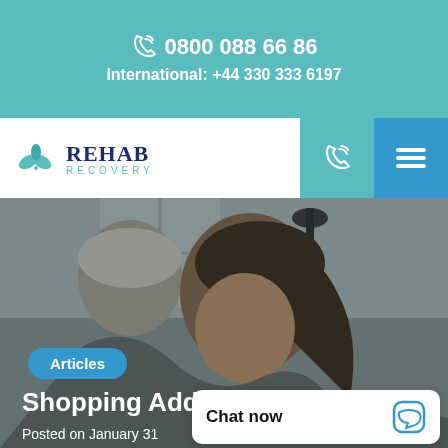0800 088 66 86 | International: +44 330 333 6197
[Figure (logo): Rehab Recovery logo with teal leaf icon and navy text]
[Figure (photo): Two people hugging, one older with grey hair, one younger with dark hair, indoor setting with chandelier]
Articles
Shopping Addiction
Posted on January 31
Chat now